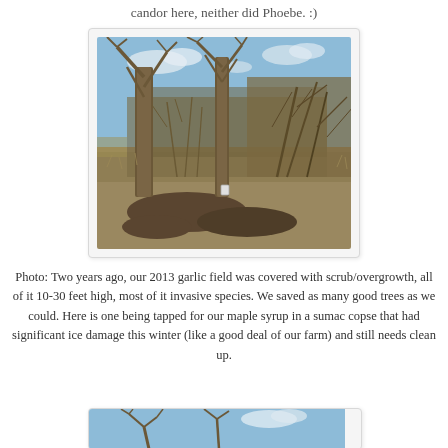candor here, neither did Phoebe. :)
[Figure (photo): Winter field scene with bare trees and scrub/overgrowth, muddy ground, blue sky with clouds. A maple tree being tapped for syrup in a sumac copse with ice damage.]
Photo: Two years ago, our 2013 garlic field was covered with scrub/overgrowth, all of it 10-30 feet high, most of it invasive species. We saved as many good trees as we could. Here is one being tapped for our maple syrup in a sumac copse that had significant ice damage this winter (like a good deal of our farm) and still needs clean up.
[Figure (photo): Partial view of a second photo showing bare winter trees against a blue sky, partially cut off at bottom of page.]